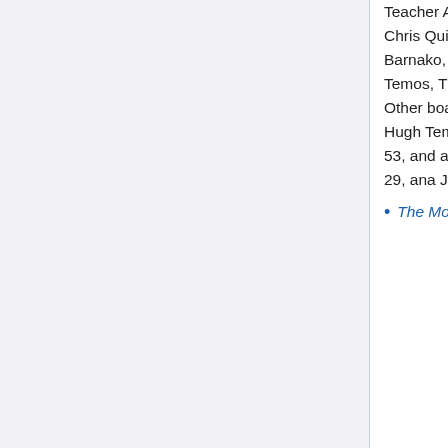Teacher Assn. [...] Winners of the medley relay were Chris Quigg, Troop 4, Wesley Methodist Church; Frank Barnako, Troop 2, First Presbyterian Church; Hugh Temos, Troop 16, and Lester Kemmerer, Troop 53. Other boating events included a canoe race, won by Hugh Temos, Troop 16, and Robert Lindenmuth, Troop 53, and a lifeboat rescue, won by Robert Myers, Troop 29, ana John Peapos, Troop 43."
The Morning Call (Allentown PA). "3